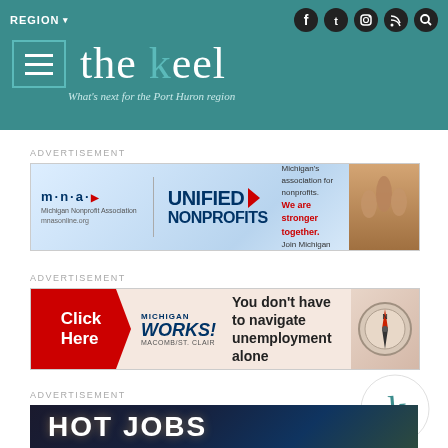the keel — What's next for the Port Huron region
ADVERTISEMENT
[Figure (infographic): MNA Unified Nonprofits banner ad: Michigan Nonprofit Association logo, 'UNIFIED NONPROFITS' text, 'You are not alone, be a part of Michigan's association for nonprofits. We are stronger together. Join Michigan Nonprofit Association today']
ADVERTISEMENT
[Figure (infographic): Michigan Works! banner ad with Click Here button: 'You don't have to navigate unemployment alone', compass image]
[Figure (logo): The Keel 'k' logo watermark in teal/dark]
ADVERTISEMENT
[Figure (infographic): HOT JOBS advertisement banner with dark background and bright text]